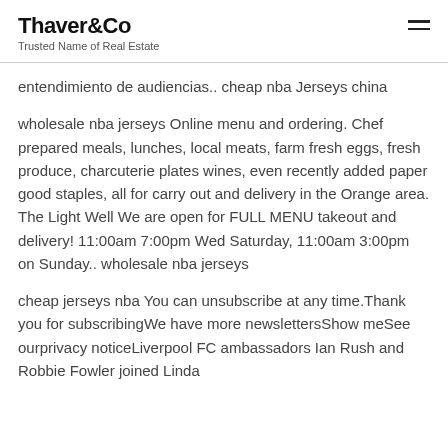Thaver&Co
Trusted Name of Real Estate
entendimiento de audiencias.. cheap nba Jerseys china
wholesale nba jerseys Online menu and ordering. Chef prepared meals, lunches, local meats, farm fresh eggs, fresh produce, charcuterie plates wines, even recently added paper good staples, all for carry out and delivery in the Orange area. The Light Well We are open for FULL MENU takeout and delivery! 11:00am 7:00pm Wed Saturday, 11:00am 3:00pm on Sunday.. wholesale nba jerseys
cheap jerseys nba You can unsubscribe at any time.Thank you for subscribingWe have more newslettersShow meSee ourprivacy noticeLiverpool FC ambassadors Ian Rush and Robbie Fowler joined Linda